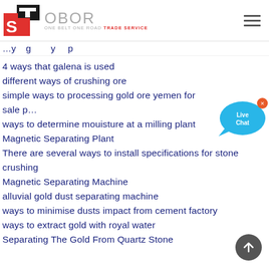[Figure (logo): OBOR Trade Service logo with TS icon in red and black, and OBOR ONE BELT ONE ROAD TRADE SERVICE text]
4 ways that galena is used
different ways of crushing ore
simple ways to processing gold ore yemen for sale p…
ways to determine mouisture at a milling plant
Magnetic Separating Plant
There are several ways to install specifications for stone crushing
Magnetic Separating Machine
alluvial gold dust separating machine
ways to minimise dusts impact from cement factory
ways to extract gold with royal water
Separating The Gold From Quartz Stone